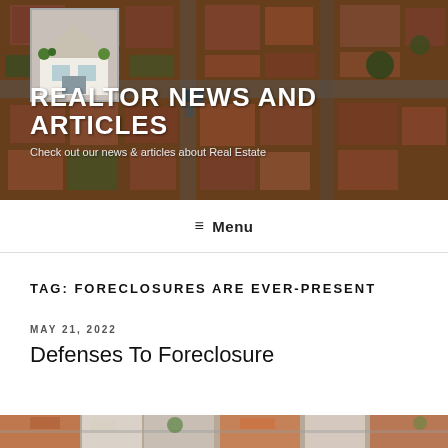[Figure (photo): Header banner with aerial view of residential neighborhood with red/terracotta rooftops and green trees, overlaid with logo of a white house with plants]
REALTOR NEWS AND ARTICLES
Check out our news & articles about Real Estate
≡ Menu
TAG: FORECLOSURES ARE EVER-PRESENT
MAY 21, 2022
Defenses To Foreclosure
[Figure (photo): Partial view of an aerial photograph of houses, cropped at bottom of page]